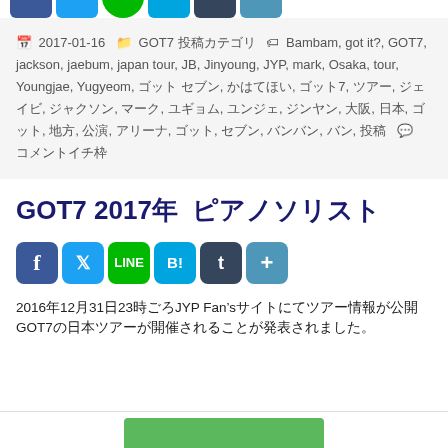[Figure (other): Social share buttons at top (Facebook, Twitter, LINE, Hatena Bookmark, Tumblr, Plus) - partial/cropped row]
📅 2017-01-16  📁 GOT7 ██████  🏷 Bambam, got it?, GOT7, jackson, jaebum, japan tour, JB, Jinyoung, JYP, mark, Osaka, tour, Youngjae, Yugyeom, ███, ██████, ████, ████, ██████, ████, ███, ███████, ████, █████, ██, ███, ██████, ███, ██████, ██, ██, ██, ██, ██, ██, ███, ██  💬 ████████
GOT7 2017年 ████████
[Figure (other): Social share buttons row: Facebook (blue), Twitter (light blue), LINE (green circle), Hatena Bookmark (blue), Tumblr (dark), Plus (blue)]
2016年12月31日23時ごろJYP Fan'sサイトにてツアー情報が公開GOT7の日本ツアーが開催されることが発表されました。